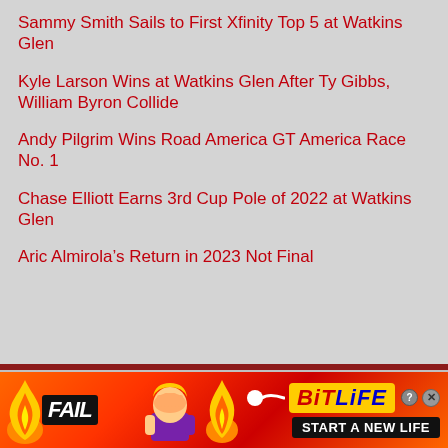Sammy Smith Sails to First Xfinity Top 5 at Watkins Glen
Kyle Larson Wins at Watkins Glen After Ty Gibbs, William Byron Collide
Andy Pilgrim Wins Road America GT America Race No. 1
Chase Elliott Earns 3rd Cup Pole of 2022 at Watkins Glen
Aric Almirola’s Return in 2023 Not Final
[Figure (illustration): BitLife advertisement banner with FAIL badge, animated character face-palming, flames, sperm icon, BitLife logo in yellow, close and help buttons, and 'START A NEW LIFE' text on black background, all on an orange-red fiery background.]